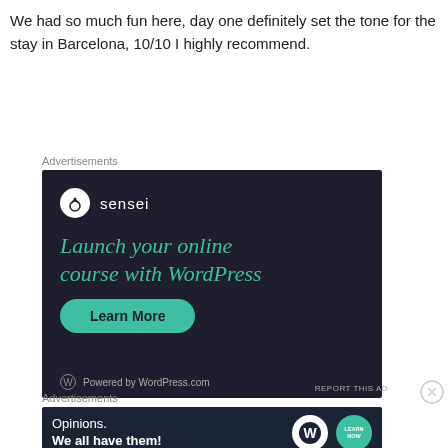We had so much fun here, day one definitely set the tone for the stay in Barcelona, 10/10 I highly recommend.
[Figure (screenshot): Sensei advertisement: dark navy background with Sensei logo (tree icon in white circle), teal headline 'Launch your online course with WordPress', teal 'Learn More' rounded button, 'Powered by WordPress.com' footer.]
[Figure (screenshot): WordPress advertisement: dark navy background with 'Opinions. We all have them!' text, WordPress logo circle and teal circle with 'Learn Now' text.]